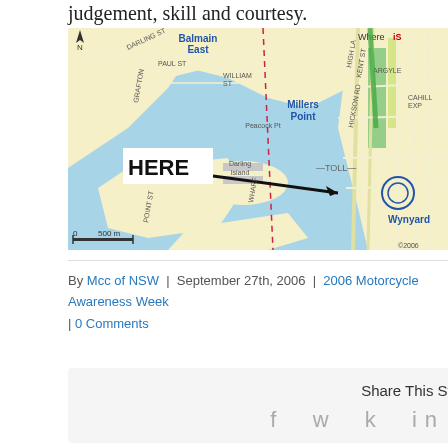judgement, skill and courtesy.
[Figure (map): Street map showing Sydney harbour area including Balmain East, Millers Point, Darling Island, Wynyard, and Peacock Pt. A 'HERE' label with an arrow points to a location near Darling Island. The map is from WhereIS and shows water in blue, land in yellow/green, and roads. A dashed red line and a TOLL marker are visible. Scale shows 500m.]
By Mcc of NSW | September 27th, 2006 | 2006 Motorcycle Awareness Week | 0 Comments
Share This Story, Choose Your Platform!